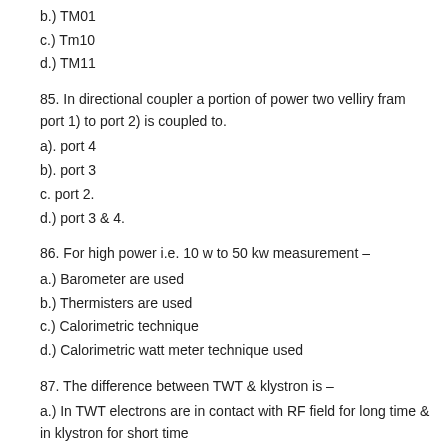b.) TM01
c.) Tm10
d.) TM11
85. In directional coupler a portion of power two velliry fram port 1) to port 2) is coupled to.
a). port 4
b). port 3
c. port 2.
d.) port 3 & 4.
86. For high power i.e. 10 w to 50 kw measurement –
a.) Barometer are used
b.) Thermisters are used
c.) Calorimetric technique
d.) Calorimetric watt meter technique used
87. The difference between TWT & klystron is –
a.) In TWT electrons are in contact with RF field for long time & in klystron for short time